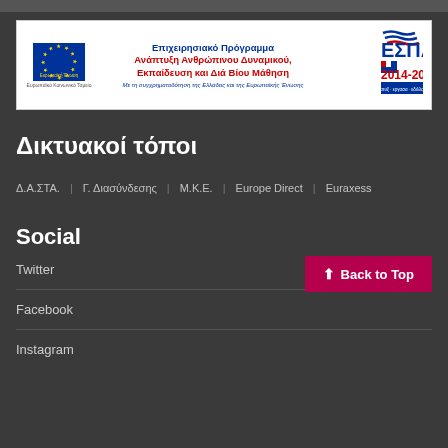[Figure (logo): ESPA 2014-2020 banner with EU flag logo, Greek text about Operational Programme for Human Resource Development, Education and Lifelong Learning, and ESPA 2014-2020 logo on the right]
Δικτυακοί τόποι
Δ.Α.ΣΤΑ.  |  Γ. Διασύνδεσης  |  Μ.Κ.Ε.  |  Europe Direct  |  Euraxess
Social
Twitter
Facebook
Instagram